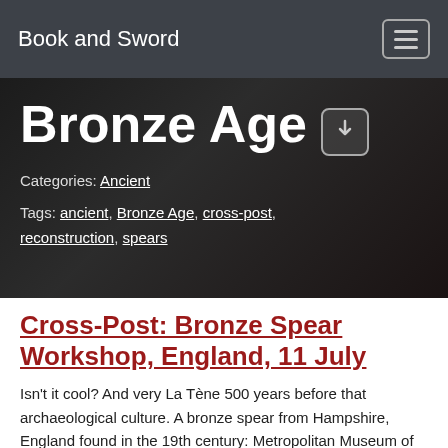Book and Sword
Bronze Age
Categories: Ancient
Tags: ancient, Bronze Age, cross-post, reconstruction, spears
Cross-Post: Bronze Spear Workshop, England, 11 July
Isn't it cool? And very La Tène 500 years before that archaeological culture. A bronze spear from Hampshire, England found in the 19th century: Metropolitan Museum of Art, Accession Number: 1998.540.1 Neil Burridge of Bronze Age Swords is